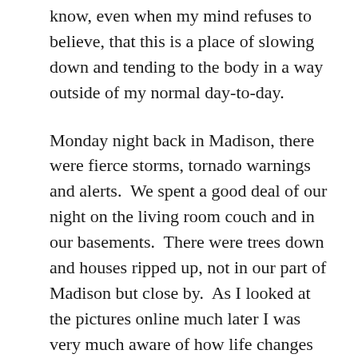know, even when my mind refuses to believe, that this is a place of slowing down and tending to the body in a way outside of my normal day-to-day.
Monday night back in Madison, there were fierce storms, tornado warnings and alerts.  We spent a good deal of our night on the living room couch and in our basements.  There were trees down and houses ripped up, not in our part of Madison but close by.  As I looked at the pictures online much later I was very much aware of how life changes in an instant — how different Tuesday would have looked had the storm claimed our neighborhood.
Julia and I had a place at 6 a.m. in Milwaukee which is about an hour and a half from our house.  I know, crazy time, but I never sleep well before a